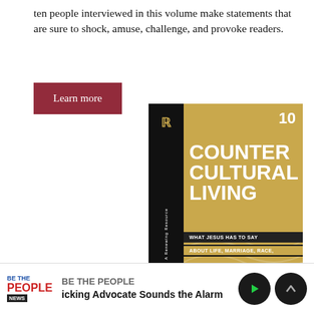ten people interviewed in this volume make statements that are sure to shock, amuse, challenge, and provoke readers.
[Figure (illustration): Learn more button (dark red/crimson background with white text)]
[Figure (photo): Book cover for 'Counter Cultural Living: What Jesus Has to Say About Life, Marriage, Race.' Gold/yellow cover with black spine, number 10 in top right corner, bold white title text, black and gold subtitle bars at bottom.]
BE THE PEOPLE | icking Advocate Sounds the Alarm